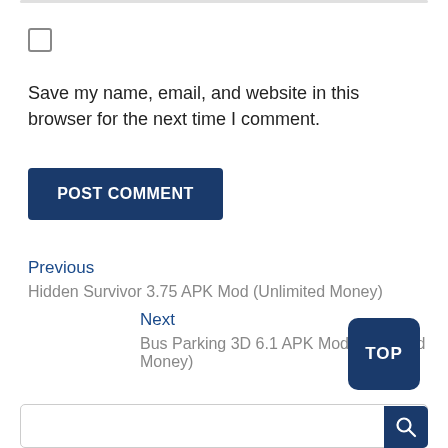[Figure (screenshot): Checkbox (unchecked) UI element]
Save my name, email, and website in this browser for the next time I comment.
[Figure (screenshot): POST COMMENT button, dark blue]
Previous
Hidden Survivor 3.75 APK Mod (Unlimited Money)
Next
Bus Parking 3D 6.1 APK Mod (Unlimited Money)
[Figure (screenshot): TOP button, dark blue rounded square]
Search